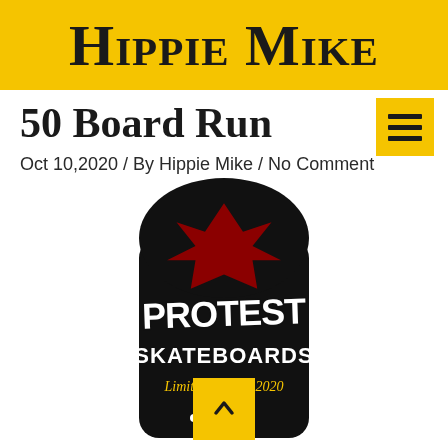Hippie Mike
50 Board Run
Oct 10,2020 / By Hippie Mike / No Comment
[Figure (photo): Protest Skateboards Limited Edition 2020 skateboard deck with a black background, red Canadian maple leaf design, and white graffiti-style 'PROTEST SKATEBOARDS' logo. Text reads 'Limited Edition 2020' in gold/yellow script.]